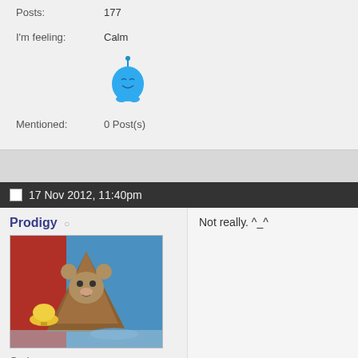(Mount Sinai)
Posts: 177
I'm feeling: Calm
[Figure (illustration): Small blue cartoon character/emoji mascot]
Mentioned: 0 Post(s)
17 Nov 2012, 11:40pm
Prodigy
Not really. ^_^
[Figure (photo): Cartoon image of Jerry mouse from Tom and Jerry, dressed in a paper bag costume, next to a golden bell, on a blue table]
God
Forum Addiction:
[Figure (other): 2 out of 7 stars rating widget for Forum Addiction]
Join Date: Nov 2012
Gender: Male